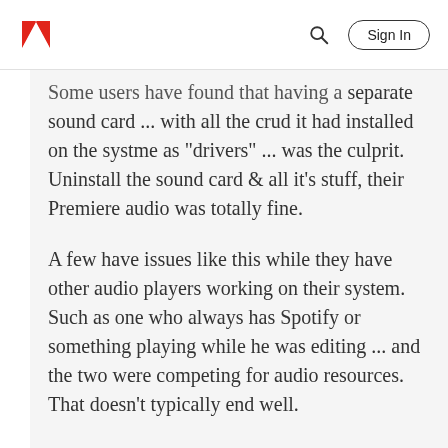Adobe | Sign In
Some users have found that having a separate sound card ... with all the crud it had installed on the systme as "drivers" ... was the culprit. Uninstall the sound card & all it's stuff, their Premiere audio was totally fine.
A few have issues like this while they have other audio players working on their system. Such as one who always has Spotify or something playing while he was editing ... and the two were competing for audio resources. That doesn't typically end well.